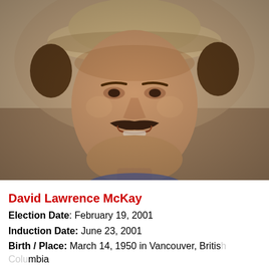[Figure (photo): Black and white / sepia-toned photograph of David Lawrence McKay, a man wearing a wide-brimmed hat and sporting a mustache, smiling slightly, appearing to be in an outdoor sports setting.]
David Lawrence McKay
Election Date: February 19, 2001
Induction Date: June 23, 2001
Birth / Place: March 14, 1950 in Vancouver, British Columbia